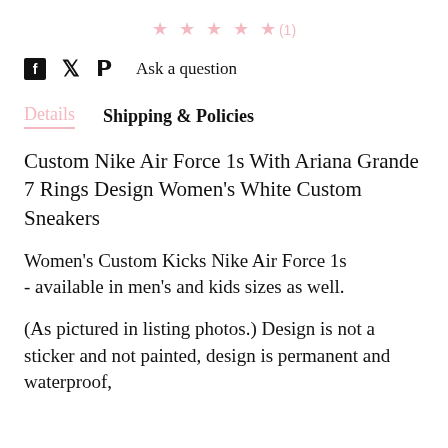★★★★★(1)
f  🐦  𝕡  Ask a question
Details   Shipping & Policies
Custom Nike Air Force 1s With Ariana Grande 7 Rings Design Women's White Custom Sneakers
Women's Custom Kicks Nike Air Force 1s
- available in men's and kids sizes as well.
(As pictured in listing photos.) Design is not a sticker and not painted, design is permanent and waterproof,